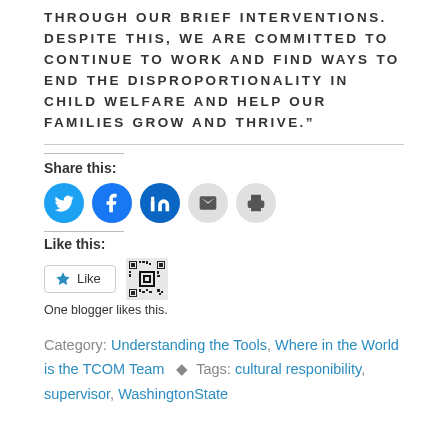THROUGH OUR BRIEF INTERVENTIONS. DESPITE THIS, WE ARE COMMITTED TO CONTINUE TO WORK AND FIND WAYS TO END THE DISPROPORTIONALITY IN CHILD WELFARE AND HELP OUR FAMILIES GROW AND THRIVE."
Share this:
[Figure (other): Social share buttons: Twitter, Facebook, LinkedIn, Email, Print]
Like this:
[Figure (other): Like button with star icon, and a blogger avatar/QR thumbnail]
One blogger likes this.
Category: Understanding the Tools, Where in the World is the TCOM Team   Tags: cultural responibility, supervisor, WashingtonState